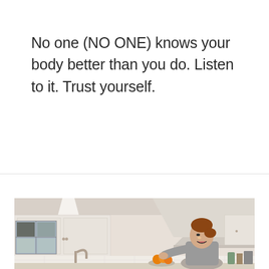No one (NO ONE) knows your body better than you do. Listen to it. Trust yourself.
[Figure (photo): A woman with red hair in a bun, wearing a gray t-shirt, laughing and cooking in a bright white kitchen with white cabinets, subway tile backsplash, a range hood, a window, kitchen sink, fruit bowl with oranges, and kitchen appliances on the counter.]